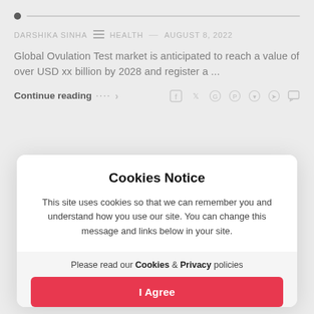DARSHIKA SINHA  HEALTH  AUGUST 8, 2022
Global Ovulation Test market is anticipated to reach a value of over USD xx billion by 2028 and register a ...
Continue reading
Cookies Notice
This site uses cookies so that we can remember you and understand how you use our site. You can change this message and links below in your site.
Please read our Cookies & Privacy policies
I Agree